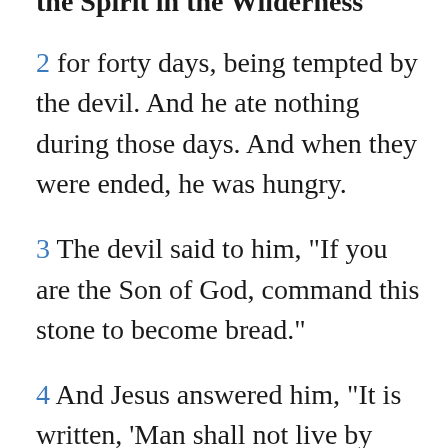the Spirit in the Wilderness
2 for forty days, being tempted by the devil. And he ate nothing during those days. And when they were ended, he was hungry.
3 The devil said to him, "If you are the Son of God, command this stone to become bread."
4 And Jesus answered him, "It is written, 'Man shall not live by bread alone.'"
5 And the devil took him up and showed him all the kingdoms of the world in a moment of time,